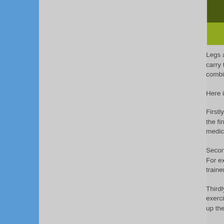[Figure (photo): Partial image at top right, showing green and olive tones, possibly a plant or nature photograph cropped at the edge of the page.]
Legs are often assi carry the weight o combination of ex
Here is how steel c
Firstly, the trainer the findings of the medical condition
Secondly, your pe For example, Bask trainer will identify
Thirdly, your train exercise because s up the muscles and
Fourth, your kids p of times you need to ensure that you make sure your'e v
Lastly, the trainer v benefits of the ex